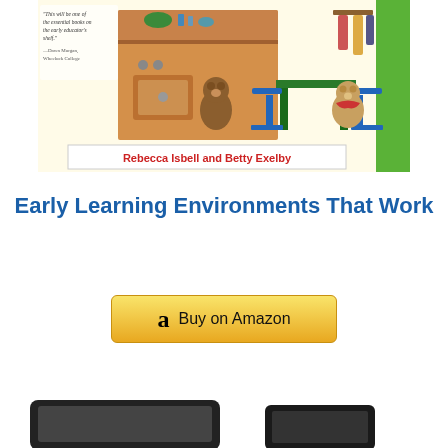[Figure (illustration): Book cover illustration for 'Early Learning Environments That Work' by Rebecca Isbell and Betty Exelby. Shows cartoon bears playing in a kitchen/classroom setting with shelves, stove, and a table. A green stripe runs on the right side. A quote reads: 'This will be one of the essential books on the early educator's shelf.' —Dawn Morgan, Wheelock College. Authors' names appear at the bottom in red bold text.]
Early Learning Environments That Work
[Figure (other): Buy on Amazon button with Amazon 'a' logo icon, styled with a yellow-gold gradient background.]
[Figure (other): Partial view of two electronic devices (tablet and phone) shown at the bottom of the page, mostly cut off.]